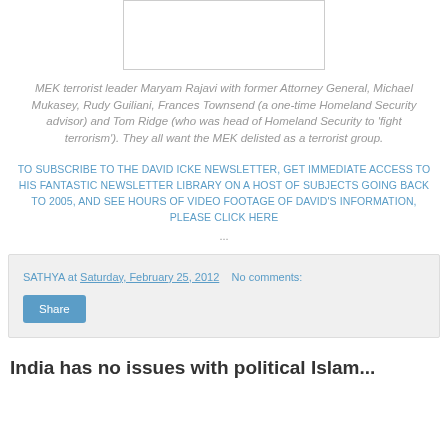[Figure (photo): Blank/white image box at top of page]
MEK terrorist leader Maryam Rajavi with former Attorney General, Michael Mukasey, Rudy Guiliani, Frances Townsend (a one-time Homeland Security advisor) and Tom Ridge (who was head of Homeland Security to 'fight terrorism'). They all want the MEK delisted as a terrorist group.
TO SUBSCRIBE TO THE DAVID ICKE NEWSLETTER, GET IMMEDIATE ACCESS TO HIS FANTASTIC NEWSLETTER LIBRARY ON A HOST OF SUBJECTS GOING BACK TO 2005, AND SEE HOURS OF VIDEO FOOTAGE OF DAVID'S INFORMATION, PLEASE CLICK HERE
...
SATHYA at Saturday, February 25, 2012   No comments:
Share
India has no issues with political Islam...